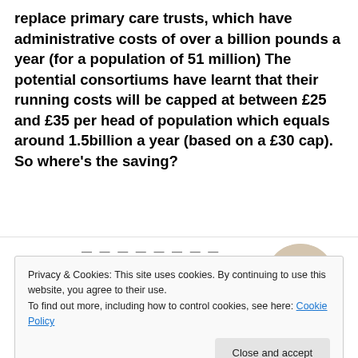replace primary care trusts, which have administrative costs of over a billion pounds a year (for a population of 51 million) The potential consortiums have learnt that their running costs will be capped at between £25 and £35 per head of population which equals around 1.5billion a year (based on a £30 cap). So where’s the saving?
[Figure (screenshot): Advertisement banner with dashed line decoration, bold tagline 'and a better world.', a blue Apply button, and a circular photo of a man thinking]
Privacy & Cookies: This site uses cookies. By continuing to use this website, you agree to their use.
To find out more, including how to control cookies, see here: Cookie Policy
Close and accept